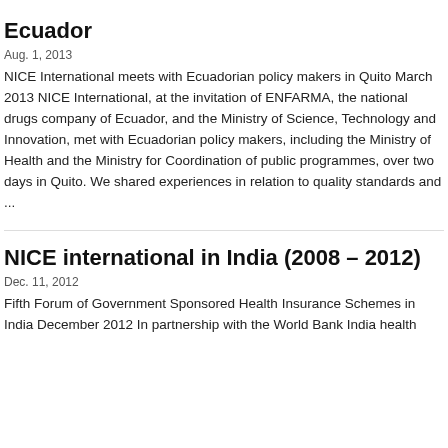Ecuador
Aug. 1, 2013
NICE International meets with Ecuadorian policy makers in Quito March 2013 NICE International, at the invitation of ENFARMA, the national drugs company of Ecuador, and the Ministry of Science, Technology and Innovation, met with Ecuadorian policy makers, including the Ministry of Health and the Ministry for Coordination of public programmes, over two days in Quito. We shared experiences in relation to quality standards and ...
NICE international in India (2008 – 2012)
Dec. 11, 2012
Fifth Forum of Government Sponsored Health Insurance Schemes in India December 2012 In partnership with the World Bank India health